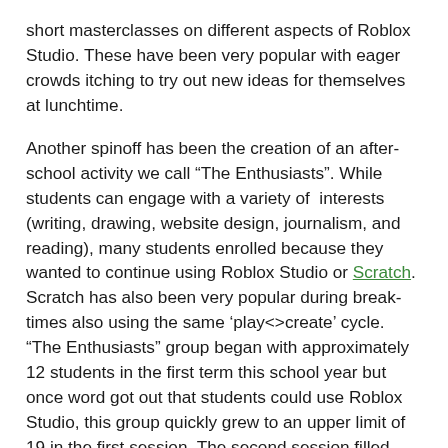short masterclasses on different aspects of Roblox Studio. These have been very popular with eager crowds itching to try out new ideas for themselves at lunchtime.
Another spinoff has been the creation of an after-school activity we call “The Enthusiasts”. While students can engage with a variety of interests (writing, drawing, website design, journalism, and reading), many students enrolled because they wanted to continue using Roblox Studio or Scratch. Scratch has also been very popular during break-times also using the same ‘play<>create’ cycle. “The Enthusiasts” group began with approximately 12 students in the first term this school year but once word got out that students could use Roblox Studio, this group quickly grew to an upper limit of 19 in the first session. The second session filled quickly and has now expanded in the 3rd session to an upper limit of 28 students with addition of more computers and an extra teacher required to meet the demand.